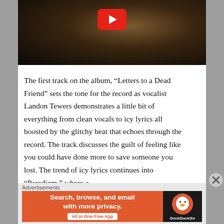[Figure (screenshot): YouTube video thumbnail showing a dark, warm-toned cinematic image with a YouTube play button overlay in the top center.]
The first track on the album, “Letters to a Dead Friend” sets the tone for the record as vocalist Landon Tewers demonstrates a little bit of everything from clean vocals to icy lyrics all boosted by the glitchy beat that echoes through the record. The track discusses the guilt of feeling like you could have done more to save someone you lost. The trend of icy lyrics continues into “Paradigm,” where a
Advertisements
[Figure (screenshot): DuckDuckGo advertisement banner with orange background. Text reads: Search, browse, and email with more privacy. All in One Free App. DuckDuckGo logo on right side on dark background.]